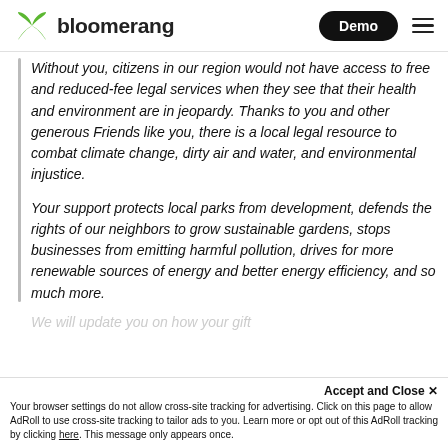bloomerang | Demo
Without you, citizens in our region would not have access to free and reduced-fee legal services when they see that their health and environment are in jeopardy. Thanks to you and other generous Friends like you, there is a local legal resource to combat climate change, dirty air and water, and environmental injustice.
Your support protects local parks from development, defends the rights of our neighbors to grow sustainable gardens, stops businesses from emitting harmful pollution, drives for more renewable sources of energy and better energy efficiency, and so much more.
We will update you on how your gift
Accept and Close ✕
Your browser settings do not allow cross-site tracking for advertising. Click on this page to allow AdRoll to use cross-site tracking to tailor ads to you. Learn more or opt out of this AdRoll tracking by clicking here. This message only appears once.